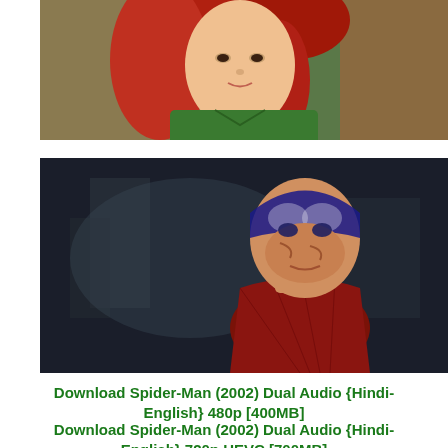[Figure (photo): Screenshot from a movie showing a woman with red hair wearing a green top]
[Figure (photo): Screenshot from Spider-Man (2002) showing Spider-Man in a dark setting with his mask partially off, face visible]
Download Spider-Man (2002) Dual Audio {Hindi-English} 480p [400MB]
Download Spider-Man (2002) Dual Audio {Hindi-English} 720p HEVC [700MB]